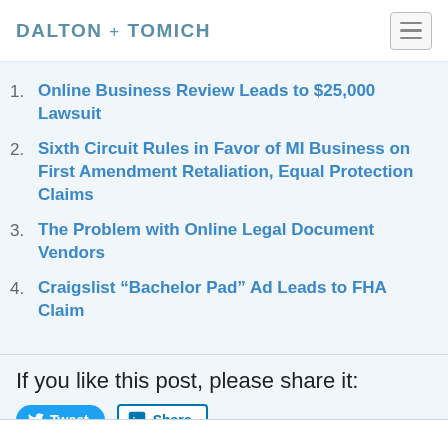DALTON + TOMICH
Online Business Review Leads to $25,000 Lawsuit
Sixth Circuit Rules in Favor of MI Business on First Amendment Retaliation, Equal Protection Claims
The Problem with Online Legal Document Vendors
Craigslist “Bachelor Pad” Ad Leads to FHA Claim
If you like this post, please share it: